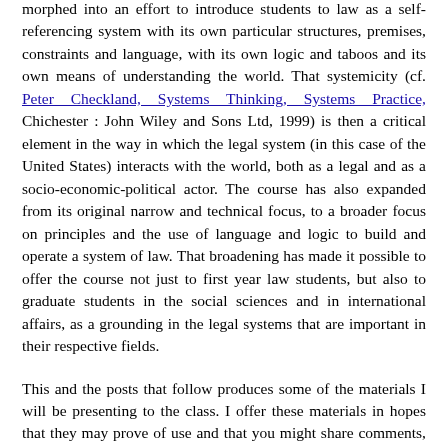morphed into an effort to introduce students to law as a self-referencing system with its own particular structures, premises, constraints and language, with its own logic and taboos and its own means of understanding the world. That systemicity (cf. Peter Checkland, Systems Thinking, Systems Practice, Chichester : John Wiley and Sons Ltd, 1999) is then a critical element in the way in which the legal system (in this case of the United States) interacts with the world, both as a legal and as a socio-economic-political actor. The course has also expanded from its original narrow and technical focus, to a broader focus on principles and the use of language and logic to build and operate a system of law. That broadening has made it possible to offer the course not just to first year law students, but also to graduate students in the social sciences and in international affairs, as a grounding in the legal systems that are important in their respective fields.
This and the posts that follow produces some of the materials I will be presenting to the class. I offer these materials in hopes that they may prove of use and that you might share comments, perspectives and suggestions as I develop those materials on this site. Thanks.
This post includes a draft of the first chapter of Part IV ( The Role of the Course, Individual Basis, Interaction, Technology...